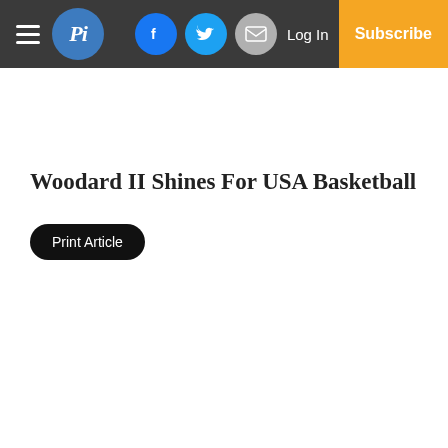Pi — Log In | Subscribe
Woodard II Shines For USA Basketball
Print Article